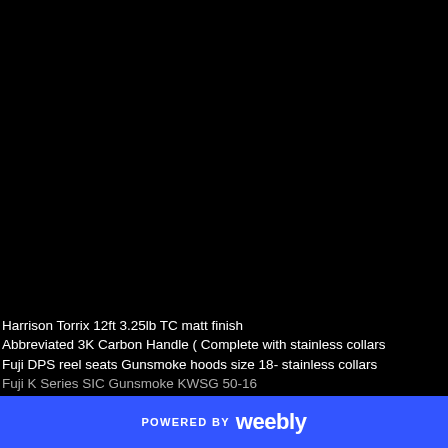[Figure (photo): Large black background area occupying most of the page, appears to be a dark product or scene photo]
Harrison Torrix 12ft 3.25lb TC matt finish
Abbreviated 3K Carbon Handle ( Complete with stainless collars
Fuji DPS reel seats Gunsmoke hoods size 18- stainless collars
Fuji K Series SIC Gunsmoke KWSG 50-16
POWERED BY weebly